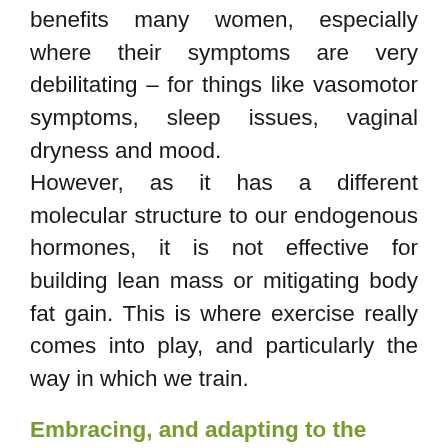benefits many women, especially where their symptoms are very debilitating – for things like vasomotor symptoms, sleep issues, vaginal dryness and mood. However, as it has a different molecular structure to our endogenous hormones, it is not effective for building lean mass or mitigating body fat gain. This is where exercise really comes into play, and particularly the way in which we train.
Embracing, and adapting to the changes
We in the Western world tend to use a lot of negative language when speaking about this time of change in a woman's